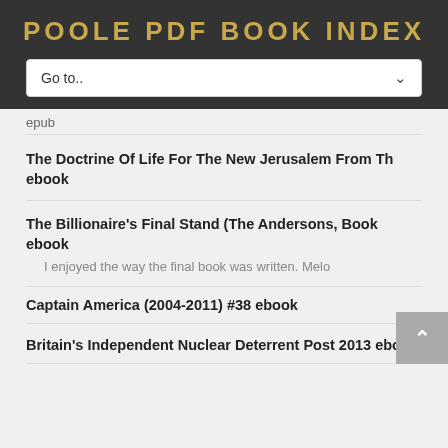POOLE PDF BOOK INDEX
Go to..
epub
The Doctrine Of Life For The New Jerusalem From Th ebook
The Billionaire's Final Stand (The Andersons, Book ebook
I enjoyed the way the final book was written. Melo
Captain America (2004-2011) #38 ebook
Britain's Independent Nuclear Deterrent Post 2013 ebook